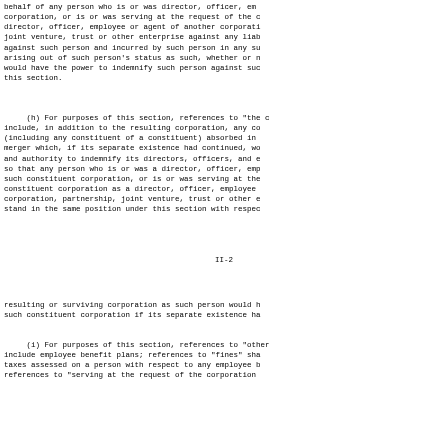behalf of any person who is or was director, officer, employee or agent of the corporation, or is or was serving at the request of the corporation as a director, officer, employee or agent of another corporation, partnership, joint venture, trust or other enterprise against any liability asserted against such person and incurred by such person in any such capacity, or arising out of such person's status as such, whether or not the corporation would have the power to indemnify such person against such liability under this section.
(h) For purposes of this section, references to "the corporation" shall include, in addition to the resulting corporation, any constituent corporation (including any constituent of a constituent) absorbed in a consolidation or merger which, if its separate existence had continued, would have had power and authority to indemnify its directors, officers, and employees or agents, so that any person who is or was a director, officer, employee or agent of such constituent corporation, or is or was serving at the request of such constituent corporation as a director, officer, employee or agent of another corporation, partnership, joint venture, trust or other enterprise, shall stand in the same position under this section with respect to the
II-2
resulting or surviving corporation as such person would have with respect to such constituent corporation if its separate existence had continued.
(i) For purposes of this section, references to "other enterprises" shall include employee benefit plans; references to "fines" shall include any taxes assessed on a person with respect to any employee benefit plan; and references to "serving at the request of the corporation"